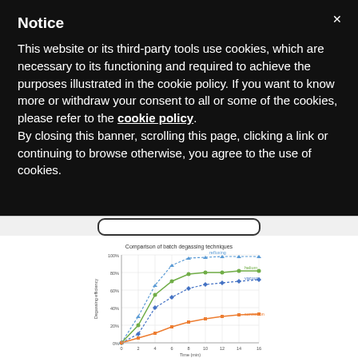Notice
This website or its third-party tools use cookies, which are necessary to its functioning and required to achieve the purposes illustrated in the cookie policy. If you want to know more or withdraw your consent to all or some of the cookies, please refer to the cookie policy.
By closing this banner, scrolling this page, clicking a link or continuing to browse otherwise, you agree to the use of cookies.
[Figure (line-chart): Comparison of batch degassing techniques]